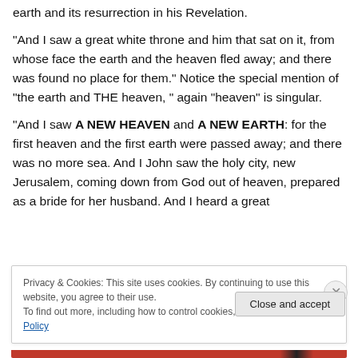earth and its resurrection in his Revelation.
“And I saw a great white throne and him that sat on it, from whose face the earth and the heaven fled away; and there was found no place for them.” Notice the special mention of “the earth and THE heaven, ” again “heaven” is singular.
“And I saw A NEW HEAVEN and A NEW EARTH: for the first heaven and the first earth were passed away; and there was no more sea. And I John saw the holy city, new Jerusalem, coming down from God out of heaven, prepared as a bride for her husband. And I heard a great
Privacy & Cookies: This site uses cookies. By continuing to use this website, you agree to their use.
To find out more, including how to control cookies, see here: Cookie Policy
Close and accept